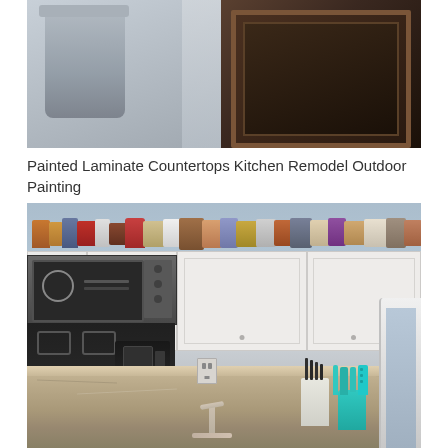[Figure (photo): Close-up photo showing a painted surface or countertop material on the left and a dark wooden picture frame on the right, against a wall background.]
Painted Laminate Countertops Kitchen Remodel Outdoor Painting
[Figure (photo): Kitchen interior photo showing white painted upper cabinets with mugs and collectibles displayed on top, stainless steel microwave above the stove, coffee maker, knife block and teal utensil holder on granite-style countertop, blue-gray wall paint.]